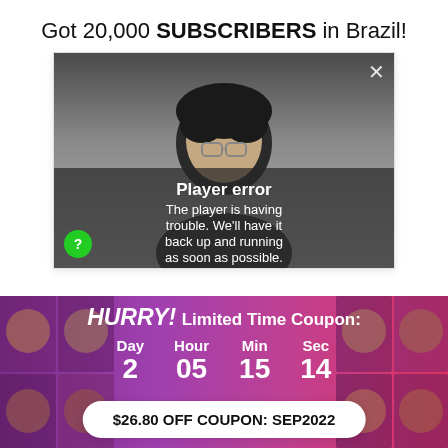Got 20,000 SUBSCRIBERS in Brazil!
[Figure (screenshot): Video player showing a person's face with a 'Player error' overlay message. The overlay reads: 'Player error — The player is having trouble. We'll have it back up and running as soon as possible.' A close (X) button is in the top right. A green help (?) button is at the bottom left.]
[Figure (infographic): Purple/pink gradient banner with face collage background. Shows 'HURRY! Limited Time Coupon:' text with a countdown: Day 2, Hour 05, Min 15, Sec 14. A white pill button at the bottom reads '$26.80 OFF COUPON: SEP2022'.]